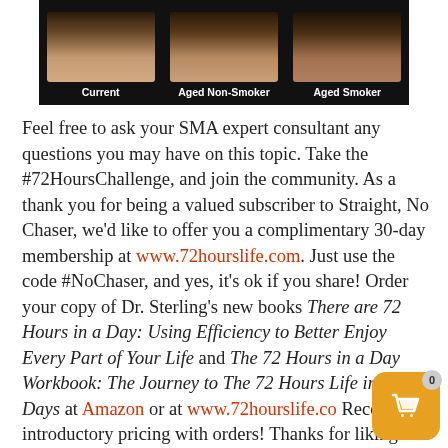[Figure (photo): Three face photos side by side on dark background labeled Current, Aged Non-Smoker, Aged Smoker]
Current    Aged Non-Smoker    Aged Smoker
Feel free to ask your SMA expert consultant any questions you may have on this topic. Take the #72HoursChallenge, and join the community. As a thank you for being a valued subscriber to Straight, No Chaser, we'd like to offer you a complimentary 30-day membership at www.72hourslife.com. Just use the code #NoChaser, and yes, it's ok if you share! Order your copy of Dr. Sterling's new books There are 72 Hours in a Day: Using Efficiency to Better Enjoy Every Part of Your Life and The 72 Hours in a Day Workbook: The Journey to The 72 Hours Life in 72 Days at Amazon or at www.72hourslife.com. Receive introductory pricing with orders! Thanks for liking and following Straight, No Chaser. This article has been...